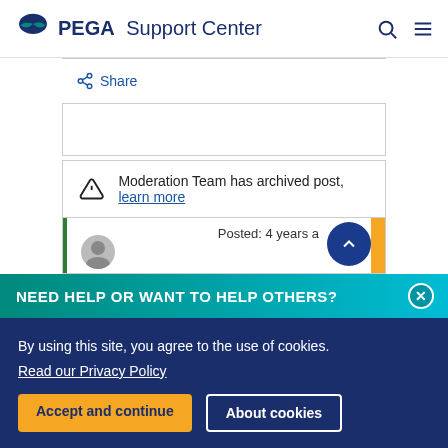PEGA Support Center
Share
Moderation Team has archived post, learn more
Posted: 4 years a
NEED HELP OR WANT TO HELP OTHERS?
By using this site, you agree to the use of cookies.
Read our Privacy Policy
Accept and continue   About cookies